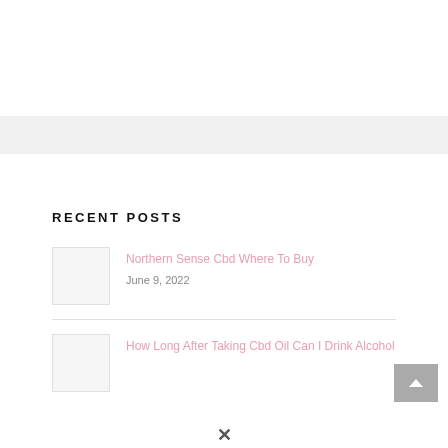RECENT POSTS
Northern Sense Cbd Where To Buy
June 9, 2022
How Long After Taking Cbd Oil Can I Drink Alcohol